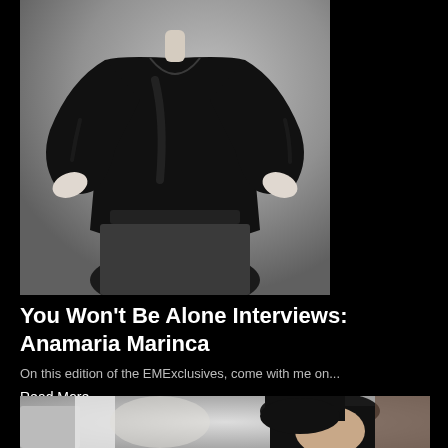[Figure (photo): Black and white photograph of a woman (Anamaria Marinca) in a black long-sleeve blouse with hands on hips, cropped at torso level, gray background.]
You Won't Be Alone Interviews: Anamaria Marinca
On this edition of the EMExclusives, come with me on...
Read More
[Figure (photo): Partial photograph showing a person with dark bobbed hair, appearing to look down, with blurred background.]